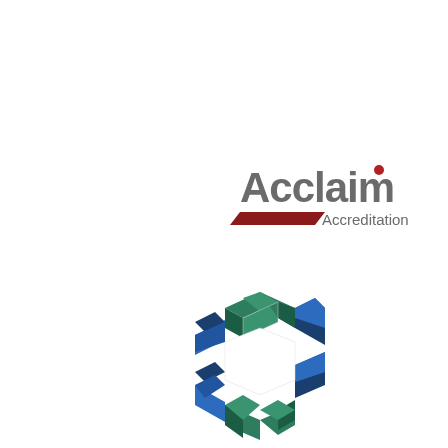[Figure (logo): Acclaim Accreditation logo: 'Acclaim' in large gray sans-serif text with a red dot over the 'i', and a dark red/maroon chevron/arrow shape beneath 'Acclaim', with 'Accreditation' in smaller gray text to the right of the arrow.]
[Figure (logo): 3D hexagonal ring logo made of interlocking block segments in blue, green, and white/outline, arranged in a circular hexagon pattern.]